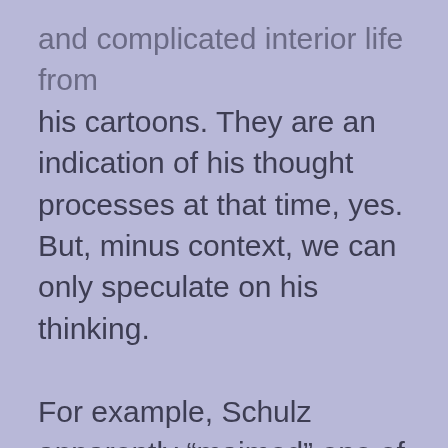and complicated interior life from his cartoons. They are an indication of his thought processes at that time, yes. But, minus context, we can only speculate on his thinking.

For example, Schulz apparently “maimed” one of his sons during an ice hockey game after his divorce with Joyce. His motives for doing so are not discussed.